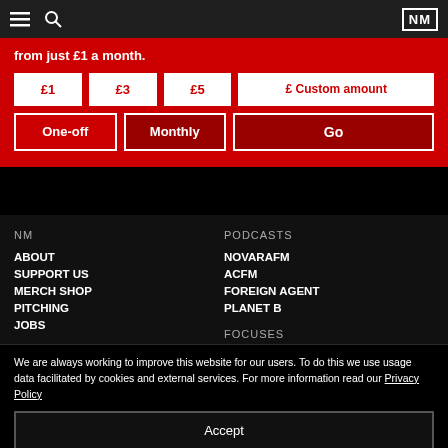NM — header navigation bar with hamburger menu, search, and logo icons
from just £1 a month.
£1
£3
£5
£ Custom amount
One-off
Monthly
Go
NM
PODCASTS
ABOUT
SUPPORT US
MERCH SHOP
PITCHING
JOBS
NOVARAFM
ACFM
FOREIGN AGENT
PLANET B
FOCUSES
We are always working to improve this website for our users. To do this we use usage data facilitated by cookies and external services. For more information read our Privacy Policy
Accept